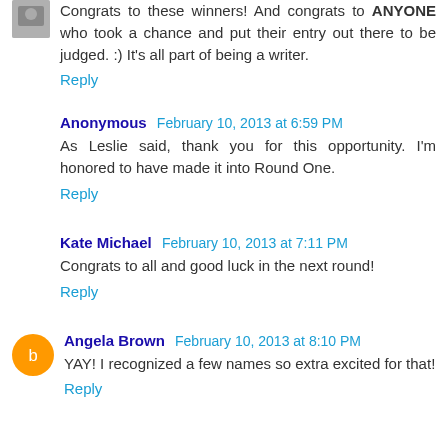Congrats to these winners! And congrats to ANYONE who took a chance and put their entry out there to be judged. :) It's all part of being a writer.
Reply
Anonymous February 10, 2013 at 6:59 PM
As Leslie said, thank you for this opportunity. I'm honored to have made it into Round One.
Reply
Kate Michael February 10, 2013 at 7:11 PM
Congrats to all and good luck in the next round!
Reply
Angela Brown February 10, 2013 at 8:10 PM
YAY! I recognized a few names so extra excited for that!
Reply